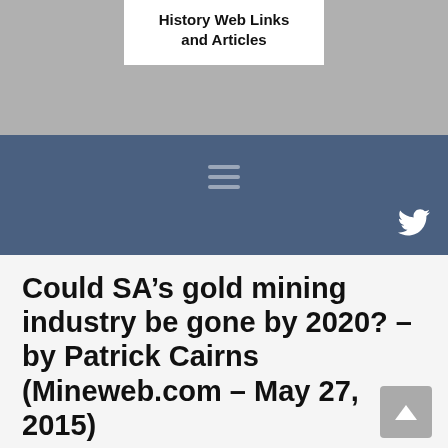History Web Links and Articles
[Figure (other): Blue banner with hamburger menu icon and Twitter bird icon]
Could SA’s gold mining industry be gone by 2020? – by Patrick Cairns (Mineweb.com – May 27, 2015)
May 27, 2015
http://www.mineweb.com/